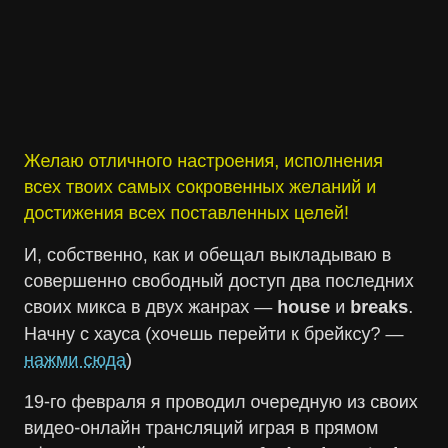Желаю отличного настроения, исполнения всех твоих самых сокровенных желаний и достижения всех поставленных целей!
И, собственно, как и обещал выкладываю в совершенно свободный доступ два последних своих микса в двух жанрах — house и breaks. Начну с хауса (хочешь перейти к брейксу? — нажми сюда)
19-го февраля я проводил очередную из своих видео-онлайн трансляций играя в прямом эфире диджей сэт в стилях funky, deep, tech, nu-disco house. Разыгрался аж почти на 4 часа =) В итоге получился отличный микс из 69 композиций вкусного, отборного